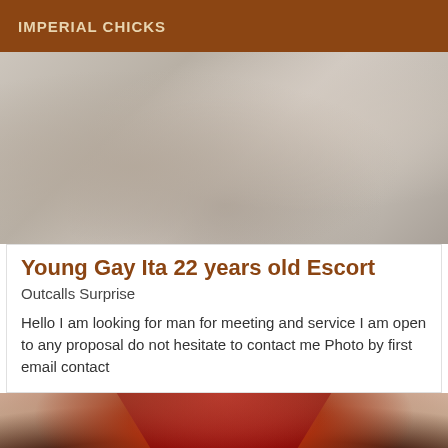IMPERIAL CHICKS
[Figure (photo): Close-up photo of white/light grey bedding or fabric surface with wrinkles and texture]
Young Gay Ita 22 years old Escort
Outcalls Surprise
Hello I am looking for man for meeting and service I am open to any proposal do not hesitate to contact me Photo by first email contact
[Figure (photo): Photo of a woman wearing a red lace top/dress, partial view of torso and face with dark hair]